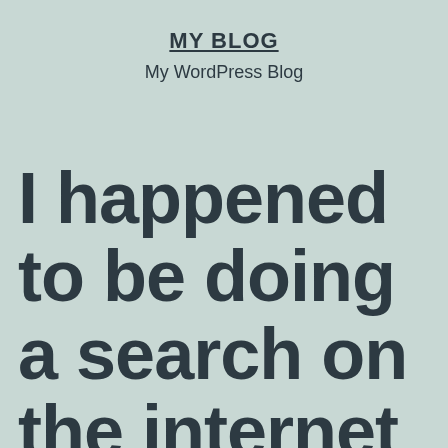MY BLOG
My WordPress Blog
I happened to be doing a search on the internet about